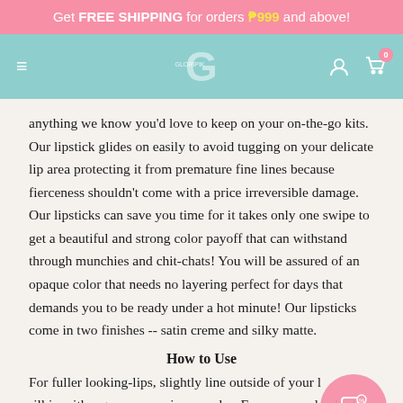Get FREE SHIPPING for orders ₱999 and above!
[Figure (screenshot): Navigation bar with hamburger menu, G logo, user icon, and cart icon with 0 badge on teal/mint background]
anything we know you'd love to keep on your on-the-go kits. Our lipstick glides on easily to avoid tugging on your delicate lip area protecting it from premature fine lines because fierceness shouldn't come with a price irreversible damage. Our lipsticks can save you time for it takes only one swipe to get a beautiful and strong color payoff that can withstand through munchies and chit-chats! You will be assured of an opaque color that needs no layering perfect for days that demands you to be ready under a hot minute! Our lipsticks come in two finishes -- satin creme and silky matte.
How to Use
For fuller looking-lips, slightly line outside of your l… ll in with a generous swipe or color. For an everyday look, swipe on your lips as usual, we promise that it is so easy, you won't